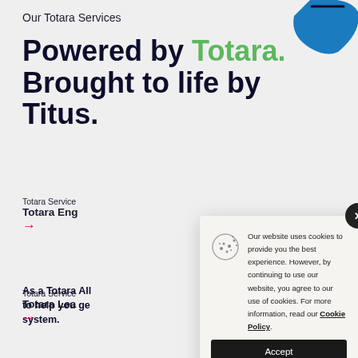Our Totara Services
Powered by Totara. Brought to life by Titus.
As a Totara All... to help you ge... system.
Totara Service
Totara Eng
→
Totara Service
Totara Lea
→
Our website uses cookies to provide you the best experience. However, by continuing to use our website, you agree to our use of cookies. For more information, read our Cookie Policy.
Accept